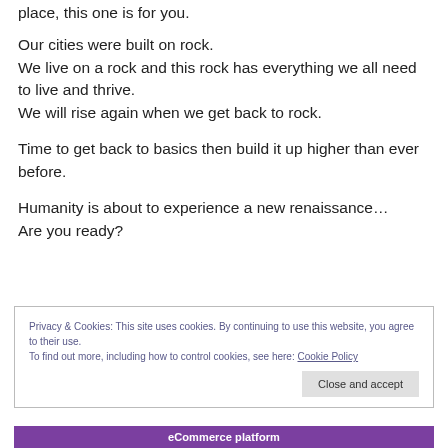place, this one is for you.
Our cities were built on rock.
We live on a rock and this rock has everything we all need to live and thrive.
We will rise again when we get back to rock.
Time to get back to basics then build it up higher than ever before.
Humanity is about to experience a new renaissance…
Are you ready?
Privacy & Cookies: This site uses cookies. By continuing to use this website, you agree to their use.
To find out more, including how to control cookies, see here: Cookie Policy
Close and accept
eCommerce platform